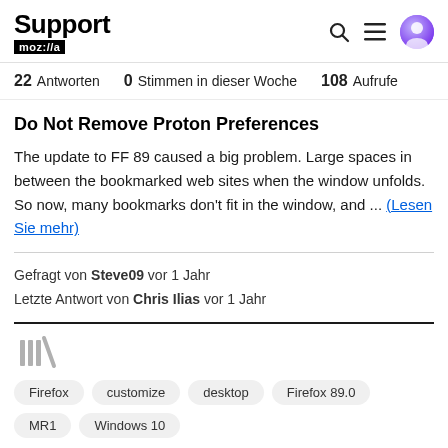Support mozilla// [search icon] [menu icon] [avatar icon]
22 Antworten   0 Stimmen in dieser Woche   108 Aufrufe
Do Not Remove Proton Preferences
The update to FF 89 caused a big problem. Large spaces in between the bookmarked web sites when the window unfolds. So now, many bookmarks don't fit in the window, and ... (Lesen Sie mehr)
Gefragt von Steve09 vor 1 Jahr
Letzte Antwort von Chris Ilias vor 1 Jahr
[Figure (logo): Library/bookmark icon in gray]
Firefox
customize
desktop
Firefox 89.0
MR1
Windows 10